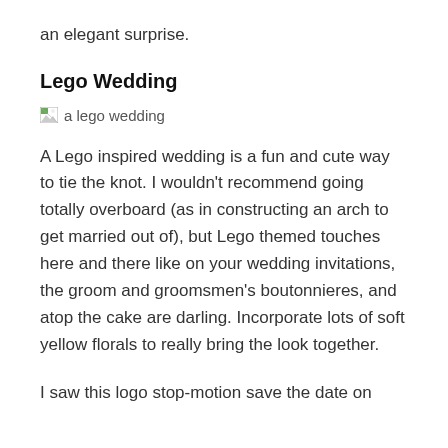an elegant surprise.
Lego Wedding
[Figure (photo): Broken image placeholder with alt text 'a lego wedding']
A Lego inspired wedding is a fun and cute way to tie the knot. I wouldn't recommend going totally overboard (as in constructing an arch to get married out of), but Lego themed touches here and there like on your wedding invitations, the groom and groomsmen's boutonnieres, and atop the cake are darling. Incorporate lots of soft yellow florals to really bring the look together.
I saw this logo stop-motion save the date on